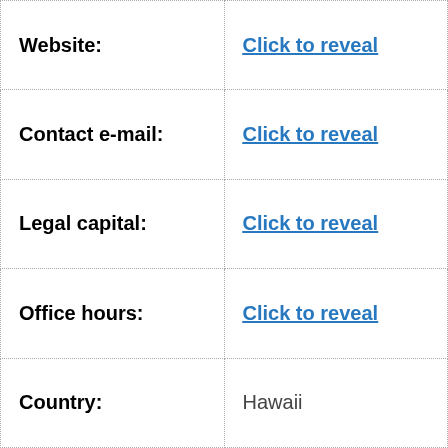| Field | Value |
| --- | --- |
| Website: | Click to reveal |
| Contact e-mail: | Click to reveal |
| Legal capital: | Click to reveal |
| Office hours: | Click to reveal |
| Country: | Hawaii |